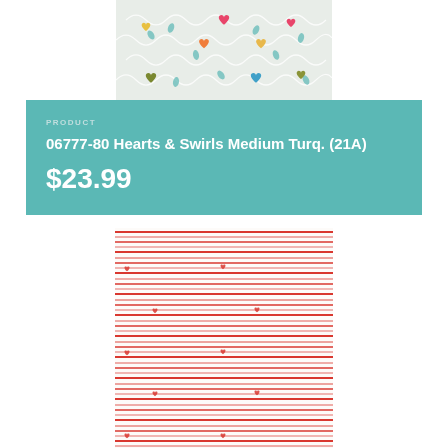[Figure (photo): Fabric swatch showing colorful hearts (pink, orange, yellow, teal, olive) with white swirl patterns on a light mint/cream background]
PRODUCT
06777-80 Hearts & Swirls Medium Turq. (21A)
$23.99
[Figure (photo): Fabric swatch showing a red and white striped pattern with small scattered red heart motifs on white background, horizontal red lines of varying thickness]